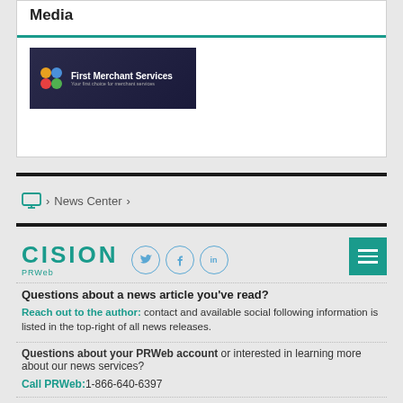Media
[Figure (logo): First Merchant Services logo on dark background]
> News Center >
[Figure (logo): Cision PRWeb logo with social media icons (Twitter, Facebook, LinkedIn) and teal menu button]
Questions about a news article you've read?
Reach out to the author: contact and available social following information is listed in the top-right of all news releases.
Questions about your PRWeb account or interested in learning more about our news services?
Call PRWeb:1-866-640-6397